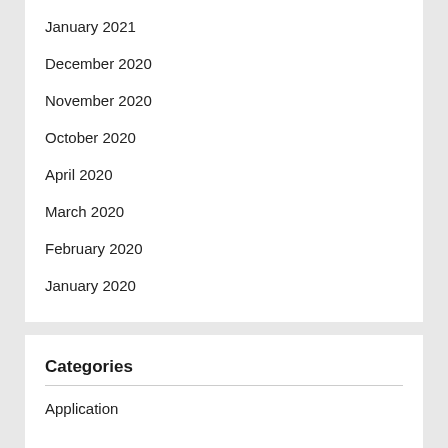January 2021
December 2020
November 2020
October 2020
April 2020
March 2020
February 2020
January 2020
Categories
Application